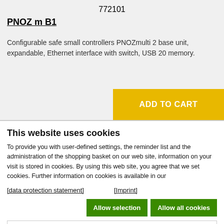772101
PNOZ m B1
Configurable safe small controllers PNOZmulti 2 base unit, expandable, Ethernet interface with switch, USB 20 memory.
This website uses cookies
To provide you with user-defined settings, the reminder list and the administration of the shopping basket on our web site, information on your visit is stored in cookies. By using this web site, you agree that we set cookies. Further information on cookies is available in our
[data protection statement]    [Imprint]
Allow selection    Allow all cookies
Necessary  Preferences  Statistics  Show details  Marketing